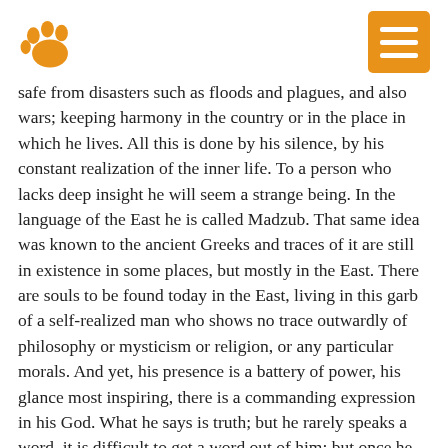[Figure (logo): Orange paw print logo on the left and an orange menu button with three horizontal white bars on the right]
safe from disasters such as floods and plagues, and also wars; keeping harmony in the country or in the place in which he lives. All this is done by his silence, by his constant realization of the inner life. To a person who lacks deep insight he will seem a strange being. In the language of the East he is called Madzub. That same idea was known to the ancient Greeks and traces of it are still in existence in some places, but mostly in the East. There are souls to be found today in the East, living in this garb of a self-realized man who shows no trace outwardly of philosophy or mysticism or religion, or any particular morals. And yet, his presence is a battery of power, his glance most inspiring, there is a commanding expression in his God. What he says is truth; but he rarely speaks a word, it is difficult to get a word out of him; but once he has spoken, what he says is done.